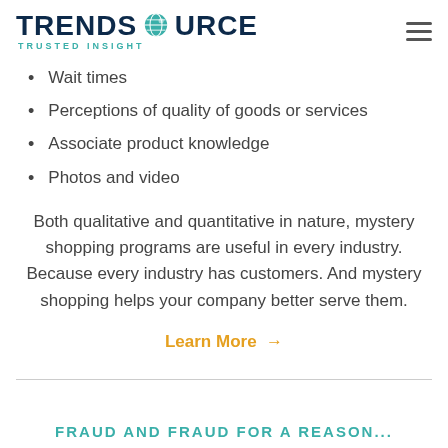TRENDSOURCE TRUSTED INSIGHT
Associate course [watermark]
Wait times
Perceptions of quality of goods or services
Associate product knowledge
Photos and video
Both qualitative and quantitative in nature, mystery shopping programs are useful in every industry. Because every industry has customers. And mystery shopping helps your company better serve them.
Learn More →
FRAUD AND FRAUD FOR A REASON...